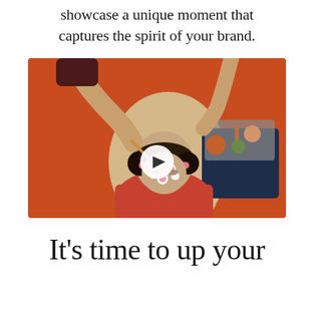showcase a unique moment that captures the spirit of your brand.
[Figure (photo): Aerial view of a woman lying on a spa table receiving a facial treatment with a pink face mask and dots on her face. A therapist applies the treatment with a brush. An orange towel covers the woman. A dark blue side table holds skincare products on a tray. Background is orange. A white play button overlay is centered on the image.]
It's time to up your